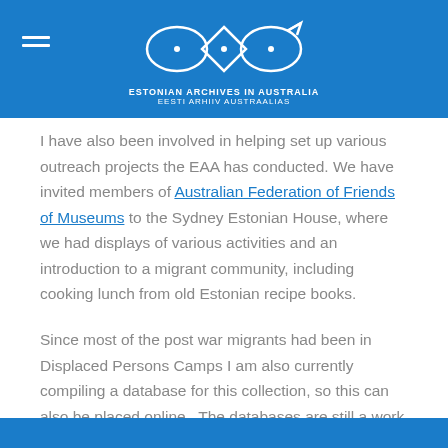Estonian Archives in Australia – Eesti Arhiiv Austraalias
I have also been involved in helping set up various outreach projects the EAA has conducted. We have invited members of Australian Federation of Friends of Museums to the Sydney Estonian House, where we had displays of various activities and an introduction to a migrant community, including cooking lunch from old Estonian recipe books.
Since most of the post war migrants had been in Displaced Persons Camps I am also currently compiling a database for this collection, so this can also be placed online . The databases are still a work in progress.